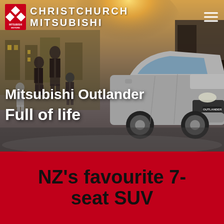[Figure (photo): Christchurch Mitsubishi dealership website header/hero image showing a Mitsubishi Outlander SUV in a urban setting with a family walking in the background, warm sunlight. Nav bar at top with Mitsubishi three-diamond logo and 'CHRISTCHURCH MITSUBISHI' text, hamburger menu icon on right.]
CHRISTCHURCH MITSUBISHI
Mitsubishi Outlander
Full of life
NZ's favourite 7-seat SUV